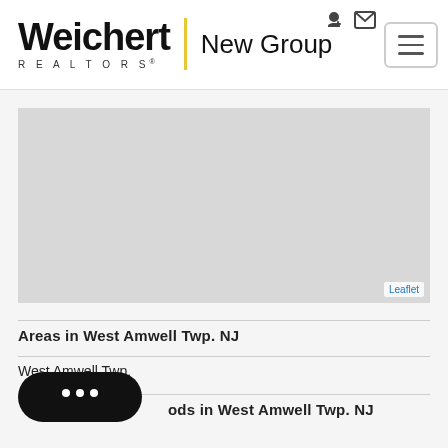[Figure (logo): Weichert Realtors New Group logo with yellow vertical divider]
[Figure (map): Light gray map placeholder showing West Amwell Twp NJ area with Leaflet attribution]
Areas in West Amwell Twp. NJ
West Amwell Twp.
ods in West Amwell Twp. NJ